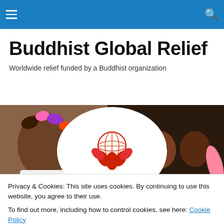Buddhist Global Relief – navigation bar
Buddhist Global Relief
Worldwide relief funded by a Buddhist organization
[Figure (photo): Banner image showing children and the Buddhist Global Relief logo (lotus flower with globe, text 'buddhist global relief')]
BGR Wins Prestigious Award
Privacy & Cookies: This site uses cookies. By continuing to use this website, you agree to their use.
To find out more, including how to control cookies, see here: Cookie Policy
Close and accept
Advertisements